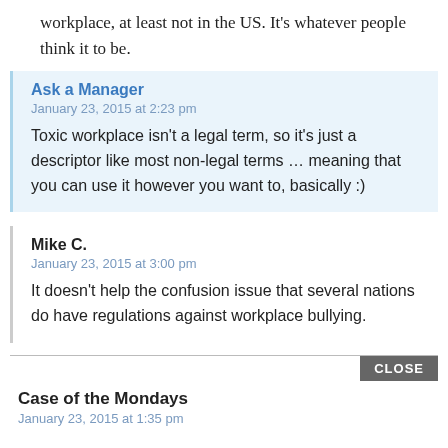workplace, at least not in the US. It’s whatever people think it to be.
Ask a Manager
January 23, 2015 at 2:23 pm
Toxic workplace isn’t a legal term, so it’s just a descriptor like most non-legal terms … meaning that you can use it however you want to, basically :)
Mike C.
January 23, 2015 at 3:00 pm
It doesn’t help the confusion issue that several nations do have regulations against workplace bullying.
CLOSE
Case of the Mondays
January 23, 2015 at 1:35 pm